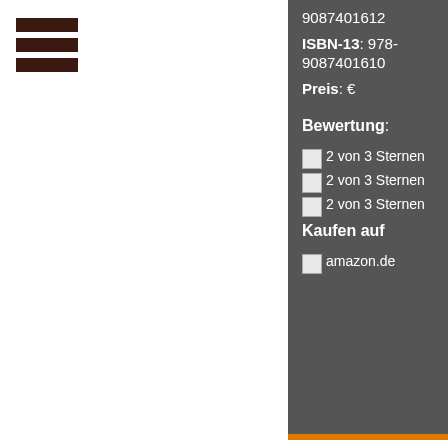[Figure (other): Three dark brown horizontal bars (hamburger menu icon) in the top-left corner of the white left panel]
9087401612
ISBN-13: 978-9087401610
Preis: €
Bewertung:
2 von 3 Sternen
2 von 3 Sternen
2 von 3 Sternen
Kaufen auf
amazon.de